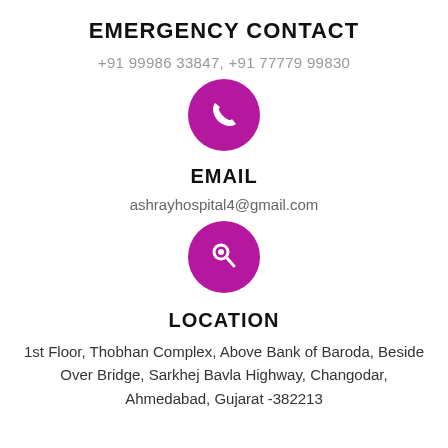EMERGENCY CONTACT
+91 99986 33847, +91 77779 99830
[Figure (illustration): Magenta circle with white telephone handset icon]
EMAIL
ashrayhospital4@gmail.com
[Figure (illustration): Magenta circle with white search/location pin icon]
LOCATION
1st Floor, Thobhan Complex, Above Bank of Baroda, Beside Over Bridge, Sarkhej Bavla Highway, Changodar, Ahmedabad, Gujarat -382213